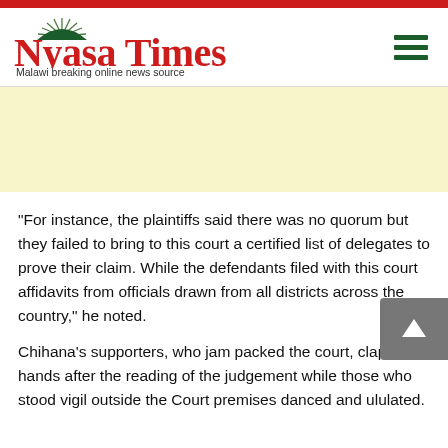Nyasa Times — Malawi breaking online news source
[Figure (other): Yellow advertisement banner placeholder]
“For instance, the plaintiffs said there was no quorum but they failed to bring to this court a certified list of delegates to prove their claim. While the defendants filed with this court affidavits from officials drawn from all districts across the country,” he noted.
Chihana’s supporters, who jam packed the court, clapped hands after the reading of the judgement while those who stood vigil outside the Court premises danced and ululated.